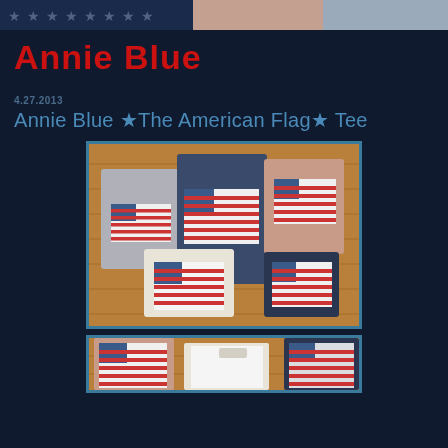Annie Blue
Annie Blue
4.27.2013
Annie Blue ★The American Flag★ Tee
[Figure (photo): Multiple folded American flag print t-shirts in gray, white, navy, and pink colors arranged on a wooden surface. Each shirt features a large American flag graphic print.]
[Figure (photo): Close-up of American flag print t-shirts on wooden surface, partially visible at bottom of page.]